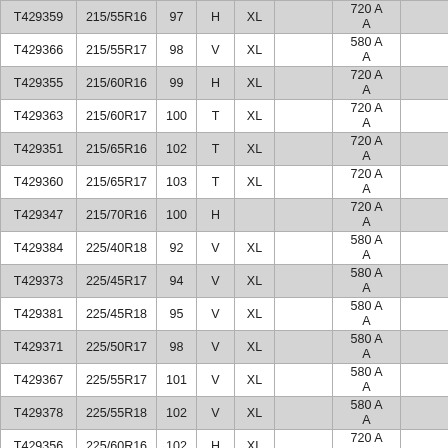| T429359 | 215/55R16 | 97 | H | XL |  | 720 A
A |  |  |
| T429366 | 215/55R17 | 98 | V | XL |  | 580 A
A |  |  |
| T429355 | 215/60R16 | 99 | H | XL |  | 720 A
A |  |  |
| T429363 | 215/60R17 | 100 | T | XL |  | 720 A
A |  |  |
| T429351 | 215/65R16 | 102 | T | XL |  | 720 A
A |  |  |
| T429360 | 215/65R17 | 103 | T | XL |  | 720 A
A |  |  |
| T429347 | 215/70R16 | 100 | H |  |  | 720 A
A |  |  |
| T429384 | 225/40R18 | 92 | V | XL |  | 580 A
A |  |  |
| T429373 | 225/45R17 | 94 | V | XL |  | 580 A
A |  |  |
| T429381 | 225/45R18 | 95 | V | XL |  | 580 A
A |  |  |
| T429371 | 225/50R17 | 98 | V | XL |  | 580 A
A |  |  |
| T429367 | 225/55R17 | 101 | V | XL |  | 580 A
A |  |  |
| T429378 | 225/55R18 | 102 | V | XL |  | 580 A
A |  |  |
| T429356 | 225/60R16 | 102 | H | XL |  | 720 A
A |  |  |